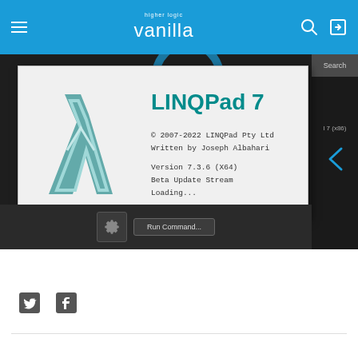higher logic vanilla
[Figure (screenshot): LINQPad 7 splash screen showing the lambda logo, copyright notice '© 2007-2022 LINQPad Pty Ltd', 'Written by Joseph Albahari', 'Version 7.3.6 (X64)', 'Beta Update Stream', 'Loading...' on a dark application background with a Run Command button visible.]
[Figure (logo): Twitter bird icon and Facebook 'f' icon (social media links)]